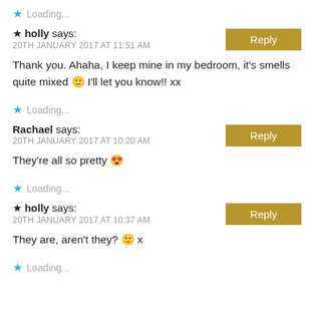Loading...
holly says: 20TH JANUARY 2017 AT 11:51 AM
Thank you. Ahaha, I keep mine in my bedroom, it's smells quite mixed 🙂 I'll let you know!! xx
Loading...
Rachael says: 20TH JANUARY 2017 AT 10:20 AM
They're all so pretty 😍
Loading...
holly says: 20TH JANUARY 2017 AT 10:37 AM
They are, aren't they? 🙂 x
Loading...